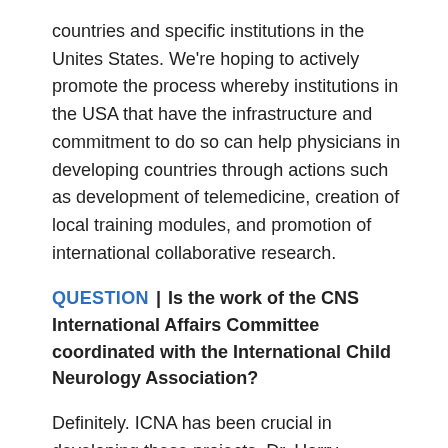countries and specific institutions in the Unites States. We're hoping to actively promote the process whereby institutions in the USA that have the infrastructure and commitment to do so can help physicians in developing countries through actions such as development of telemedicine, creation of local training modules, and promotion of international collaborative research.
QUESTION | Is the work of the CNS International Affairs Committee coordinated with the International Child Neurology Association?
Definitely. ICNA has been crucial in developing these projects. Dr. Harry Chugani, an active member of our committee and former president of ICNA, was instrumental in linking our committee with ICNA. We are mutually involved in the organization of international meetings in developing countries. The